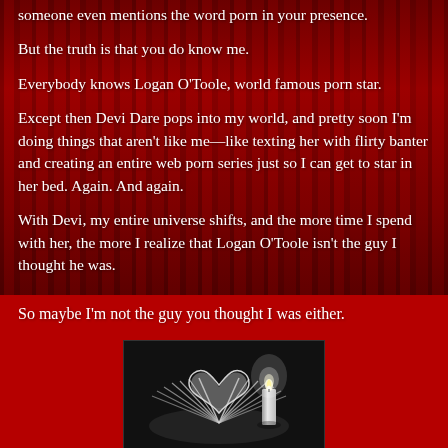someone even mentions the word porn in your presence.
But the truth is that you do know me.
Everybody knows Logan O'Toole, world famous porn star.
Except then Devi Dare pops into my world, and pretty soon I'm doing things that aren't like me—like texting her with flirty banter and creating an entire web porn series just so I can get to star in her bed. Again. And again.
With Devi, my entire universe shifts, and the more time I spend with her, the more I realize that Logan O'Toole isn't the guy I thought he was.
So maybe I'm not the guy you thought I was either.
[Figure (photo): Black and white photo of an open book with pages folded into a heart shape, with a lit candle beside it, on a dark background.]